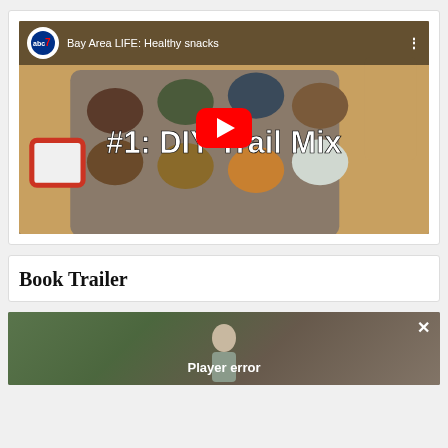[Figure (screenshot): YouTube video thumbnail showing Bay Area LIFE: Healthy snacks with abc7 logo, muffin tin with various nuts and dried fruits, text '#1: DIY Trail Mix', red YouTube play button overlay]
Book Trailer
[Figure (screenshot): Video player showing a person outdoors with a wooden fence background, displaying 'Player error' message with an X close button]